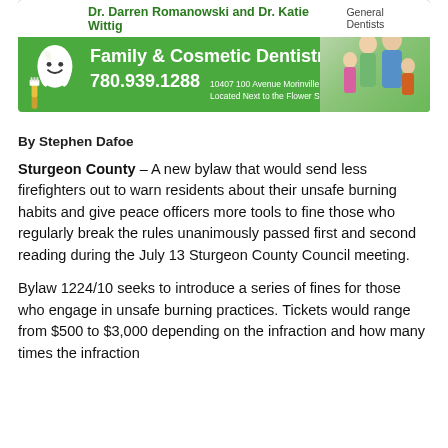[Figure (other): Advertisement for Dr. Darren Romanowski and Dr. Katie Wittig, General Dentists. Family & Cosmetic Dentistry. Phone: 780.939.1288. Address: 10407 100 Avenue Morinville, Located Next to the Flower Stop. Green banner with tooth mascot and family photo.]
By Stephen Dafoe
Sturgeon County – A new bylaw that would send less firefighters out to warn residents about their unsafe burning habits and give peace officers more tools to fine those who regularly break the rules unanimously passed first and second reading during the July 13 Sturgeon County Council meeting.
Bylaw 1224/10 seeks to introduce a series of fines for those who engage in unsafe burning practices. Tickets would range from $500 to $3,000 depending on the infraction and how many times the infraction